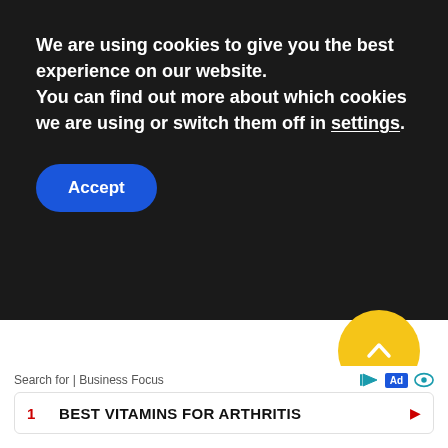We are using cookies to give you the best experience on our website.
You can find out more about which cookies we are using or switch them off in settings.
Accept
[Figure (other): Yellow circular scroll-to-top button with a white upward chevron arrow]
[Figure (screenshot): Search advertisement bar showing 'Search for | Business Focus' with play, Ad, and eye icons, followed by result: '1 BEST VITAMINS FOR ARTHRITIS' with a red right arrow]